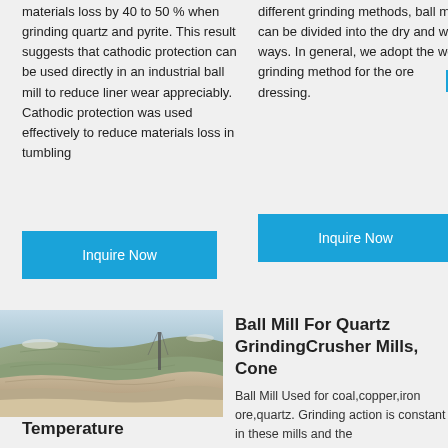materials loss by 40 to 50 % when grinding quartz and pyrite. This result suggests that cathodic protection can be used directly in an industrial ball mill to reduce liner wear appreciably. Cathodic protection was used effectively to reduce materials loss in tumbling
different grinding methods, ball mill can be divided into the dry and wet ways. In general, we adopt the wet grinding method for the ore dressing.
[Figure (other): Blue 'Inquire Now' button on the left column]
[Figure (other): Blue 'Inquire Now' button on the right column]
[Figure (photo): Aerial photo of a large open-pit quarry mine with terraced rock layers]
Temperature
Ball Mill For Quartz GrindingCrusher Mills, Cone
Ball Mill Used for coal,copper,iron ore,quartz. Grinding action is constant in these mills and the